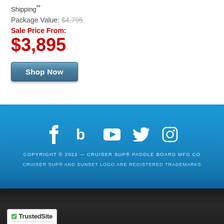Shipping**
Package Value: $4,795
Sale Price From:
$3,895
Shop Now
[Figure (infographic): Blue water-textured footer banner with social media icons (Facebook, Bloglovin, YouTube, Twitter, Instagram), copyright text, and trademark notice]
COPYRIGHT © 2022 — CRUISER SUP® PADDLE BOARD MFG CO
CRUISER SUP® AND SUNSET LOGO ARE REGISTERED TRADEMARKS
[Figure (logo): TrustedSite Certified Secure badge with green checkmark logo]
CERTIFIED SECURE